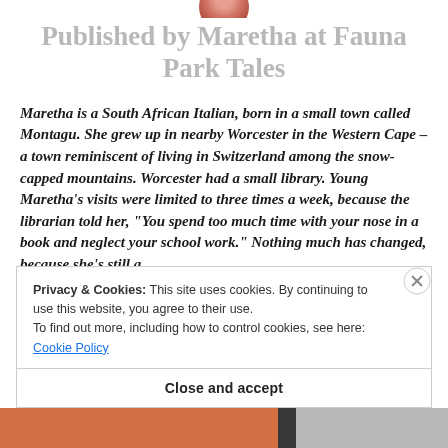[Figure (photo): Partial avatar/profile photo at top center, cropped]
Published by Maretha at Fauna Park Tales
Maretha is a South African Italian, born in a small town called Montagu. She grew up in nearby Worcester in the Western Cape – a town reminiscent of living in Switzerland among the snow-capped mountains. Worcester had a small library. Young Maretha's visits were limited to three times a week, because the librarian told her, “You spend too much time with your nose in a book and neglect your school work.” Nothing much has changed, because she’s still a
Privacy & Cookies: This site uses cookies. By continuing to use this website, you agree to their use.
To find out more, including how to control cookies, see here: Cookie Policy
Close and accept
[Figure (photo): Bottom strip showing partial book cover images in orange and dark colors]